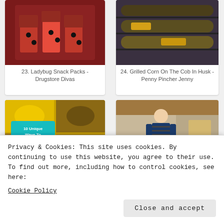[Figure (photo): Photo of ladybug-themed red jello cups snacks]
23. Ladybug Snack Packs - Drugstore Divas
[Figure (photo): Photo of grilled corn on the cob in husk on a grill]
24. Grilled Corn On The Cob In Husk - Penny Pincher Jenny
[Figure (photo): Collage photo: 10 Unique Ways To Prepare Corn On The Cob]
[Figure (photo): Photo of a woman standing indoors in a blue jacket and striped shirt]
Privacy & Cookies: This site uses cookies. By continuing to use this website, you agree to their use.
To find out more, including how to control cookies, see here:
Cookie Policy
Close and accept